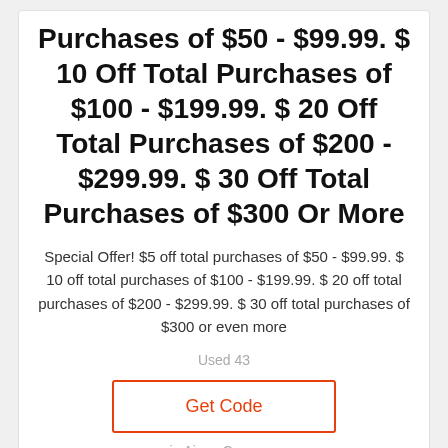Purchases of $50 - $99.99. $ 10 Off Total Purchases of $100 - $199.99. $ 20 Off Total Purchases of $200 - $299.99. $ 30 Off Total Purchases of $300 Or More
Special Offer! $5 off total purchases of $50 - $99.99. $ 10 off total purchases of $100 - $199.99. $ 20 off total purchases of $200 - $299.99. $ 30 off total purchases of $300 or even more
Used 43
Get Code
in Ajusa Coupons
5%
off